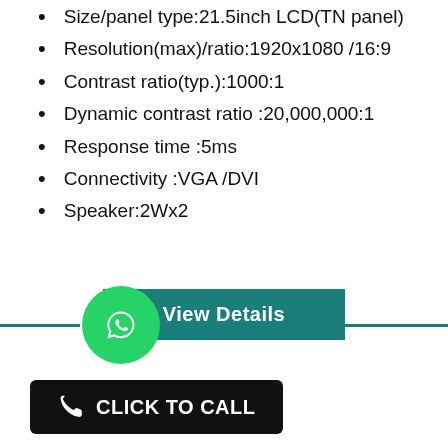Size/panel type:21.5inch LCD(TN panel)
Resolution(max)/ratio:1920x1080 /16:9
Contrast ratio(typ.):1000:1
Dynamic contrast ratio :20,000,000:1
Response time :5ms
Connectivity :VGA /DVI
Speaker:2Wx2
[Figure (other): Teal 'View Details' button]
[Figure (other): WhatsApp green circle icon with phone handset, flanked by teal horizontal divider lines]
[Figure (other): Black rounded rectangle button with phone icon and text 'CLICK TO CALL']